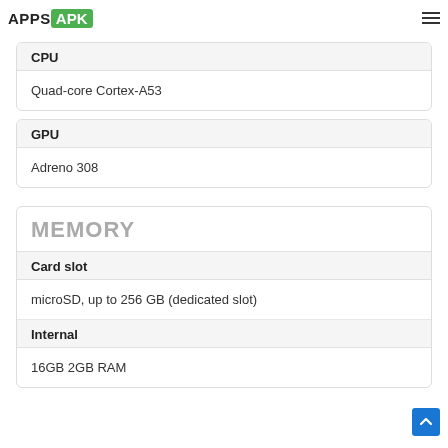APPS APK
Snapdragon 430 Snapdragon 432 (02 nm)
| CPU |  |
| --- | --- |
| Quad-core Cortex-A53 |  |
| GPU |  |
| --- | --- |
| Adreno 308 |  |
MEMORY
| Card slot |  |
| --- | --- |
| microSD, up to 256 GB (dedicated slot) |  |
| Internal |  |
| --- | --- |
| 16GB 2GB RAM |  |